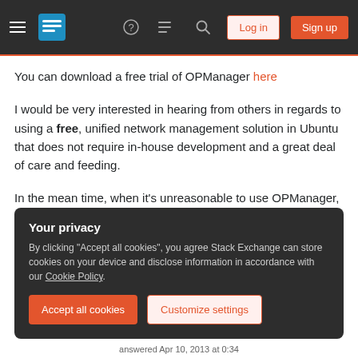Stack Exchange navigation bar with hamburger menu, logo, help, chat, search icons, Log in and Sign up buttons
You can download a free trial of OPManager here
I would be very interested in hearing from others in regards to using a free, unified network management solution in Ubuntu that does not require in-house development and a great deal of care and feeding.
In the mean time, when it’s unreasonable to use OPManager, or OpenNMS, I will have to make due with my own custom
Your privacy
By clicking “Accept all cookies”, you agree Stack Exchange can store cookies on your device and disclose information in accordance with our Cookie Policy.
Accept all cookies | Customize settings
answered Apr 10, 2013 at 0:34